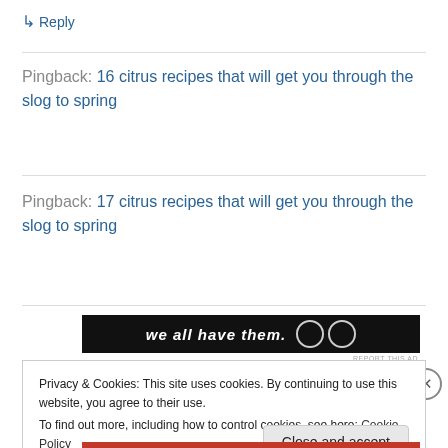↳ Reply
Pingback: 16 citrus recipes that will get you through the slog to spring
Pingback: 17 citrus recipes that will get you through the slog to spring
[Figure (screenshot): Dark advertisement banner with white italic text reading 'we all have them.' and circular icons on the right]
REPORT THIS AD
Privacy & Cookies: This site uses cookies. By continuing to use this website, you agree to their use.
To find out more, including how to control cookies, see here: Cookie Policy
Close and accept